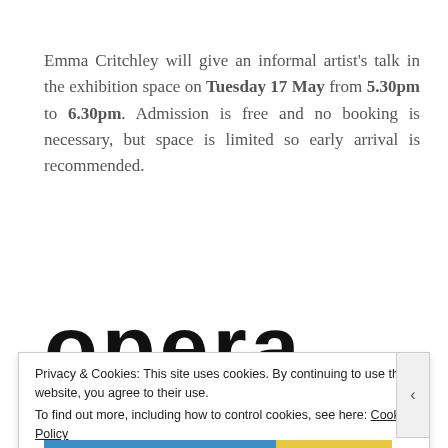Emma Critchley will give an informal artist's talk in the exhibition space on Tuesday 17 May from 5.30pm to 6.30pm. Admission is free and no booking is necessary, but space is limited so early arrival is recommended.
[Figure (logo): Opera North logo in large black bold lowercase letters]
Privacy & Cookies: This site uses cookies. By continuing to use this website, you agree to their use. To find out more, including how to control cookies, see here: Cookie Policy
Close and accept